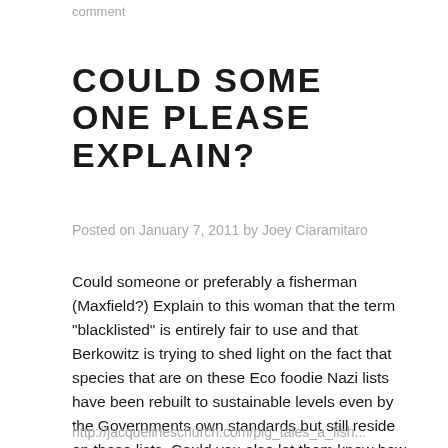comment
COULD SOME ONE PLEASE EXPLAIN?
Posted on January 7, 2011 by Joey Ciaramitaro
Could someone or preferably a fisherman (Maxfield?) Explain to this woman that the term “blacklisted” is entirely fair to use and that Berkowitz is trying to shed light on the fact that species that are on these Eco foodie Nazi lists have been rebuilt to sustainable levels even by the Governments own standards but still reside on these lists. Could you also let them know how much more codfish there are swimming in the ocean since the days at sea program had been instituted?
http://jacquelinechurch.com/pig_tales_a_fish...